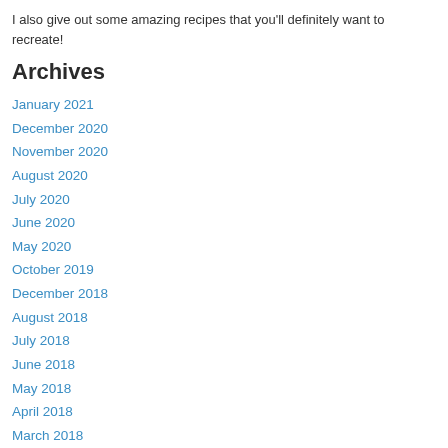I also give out some amazing recipes that you'll definitely want to recreate!
Archives
January 2021
December 2020
November 2020
August 2020
July 2020
June 2020
May 2020
October 2019
December 2018
August 2018
July 2018
June 2018
May 2018
April 2018
March 2018
February 2018